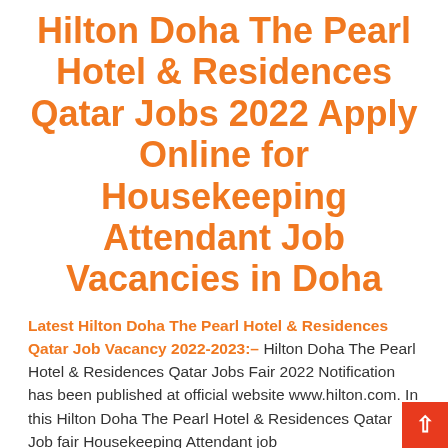Hilton Doha The Pearl Hotel & Residences Qatar Jobs 2022 Apply Online for Housekeeping Attendant Job Vacancies in Doha
Latest Hilton Doha The Pearl Hotel & Residences Qatar Job Vacancy 2022-2023:– Hilton Doha The Pearl Hotel & Residences Qatar Jobs Fair 2022 Notification has been published at official website www.hilton.com. In this Hilton Doha The Pearl Hotel & Residences Qatar Job fair Housekeeping Attendant job